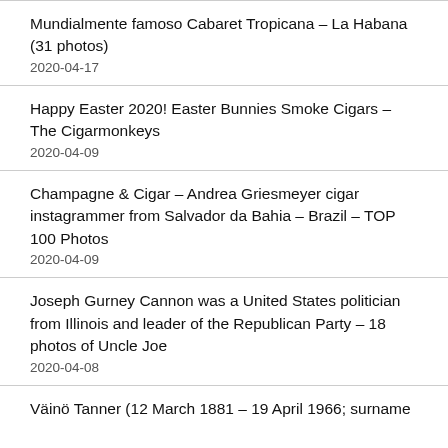Mundialmente famoso Cabaret Tropicana – La Habana (31 photos)
2020-04-17
Happy Easter 2020! Easter Bunnies Smoke Cigars – The Cigarmonkeys
2020-04-09
Champagne & Cigar – Andrea Griesmeyer cigar instagrammer from Salvador da Bahia – Brazil – TOP 100 Photos
2020-04-09
Joseph Gurney Cannon was a United States politician from Illinois and leader of the Republican Party – 18 photos of Uncle Joe
2020-04-08
Väinö Tanner (12 March 1881 – 19 April 1966; surname until 1885 Thomasson) was a leading figure in the Social…